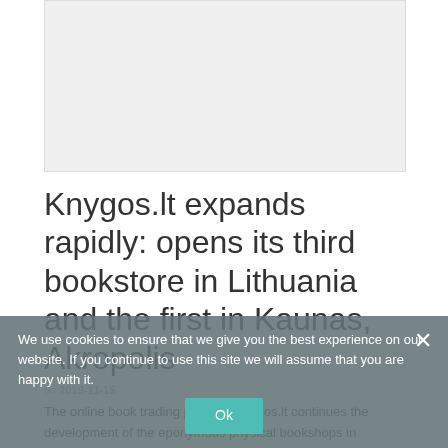[Figure (photo): Gray/white placeholder image area at the top of the article page]
Knygos.lt expands rapidly: opens its third bookstore in Lithuania and the first in Kaunas, Akropolis
on 2019-11-15
The online book trading platform Knygos.lt continues the development of the eponymous physical bookshops in Lithuania. In the last two years, two bookstores have been opened in Vilnius, and on 25
We use cookies to ensure that we give you the best experience on our website. If you continue to use this site we will assume that you are happy with it.
Ok